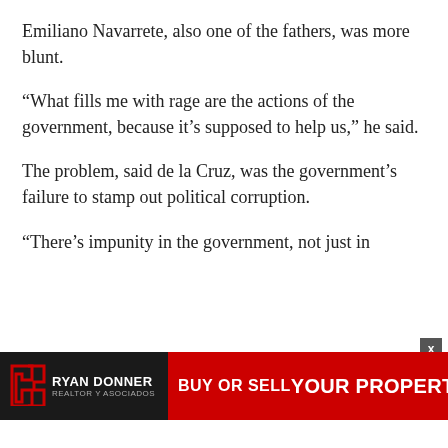Emiliano Navarrete, also one of the fathers, was more blunt.
“What fills me with rage are the actions of the government, because it’s supposed to help us,” he said.
The problem, said de la Cruz, was the government’s failure to stamp out political corruption.
“There’s impunity in the government, not just in
[Figure (other): Advertisement banner for Ryan Donner Realtor y Asociados with text 'BUY OR SELL YOUR PROPERTY WITH US' on red background]